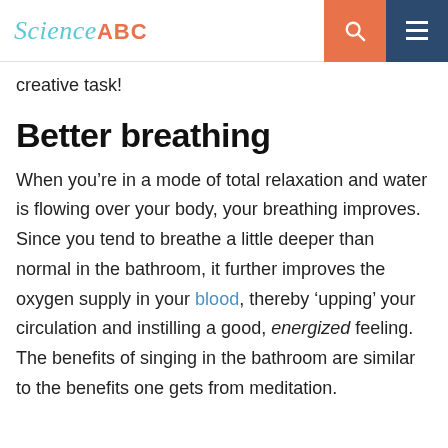Science ABC
creative task!
Better breathing
When you’re in a mode of total relaxation and water is flowing over your body, your breathing improves. Since you tend to breathe a little deeper than normal in the bathroom, it further improves the oxygen supply in your blood, thereby ‘upping’ your circulation and instilling a good, energized feeling. The benefits of singing in the bathroom are similar to the benefits one gets from meditation.